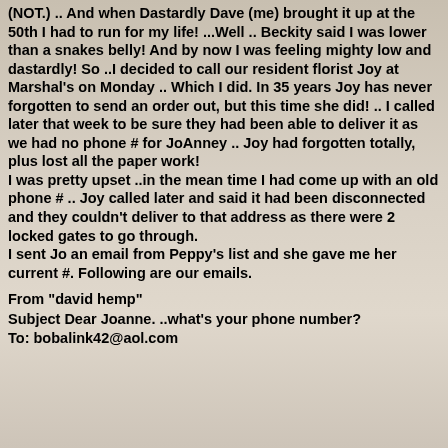(NOT.) .. And when Dastardly Dave (me) brought it up at the 50th I had to run for my life! ...Well .. Beckity said I was lower than a snakes belly! And by now I was feeling mighty low and dastardly! So ..I decided to call our resident florist Joy at Marshal's on Monday .. Which I did. In 35 years Joy has never forgotten to send an order out, but this time she did! .. I called later that week to be sure they had been able to deliver it as we had no phone # for JoAnney .. Joy had forgotten totally, plus lost all the paper work! I was pretty upset ..in the mean time I had come up with an old phone # .. Joy called later and said it had been disconnected and they couldn't deliver to that address as there were 2 locked gates to go through. I sent Jo an email from Peppy's list and she gave me her current #. Following are our emails.
From "david hemp"
Subject Dear Joanne. ..what's your phone number?
To: bobalink42@aol.com